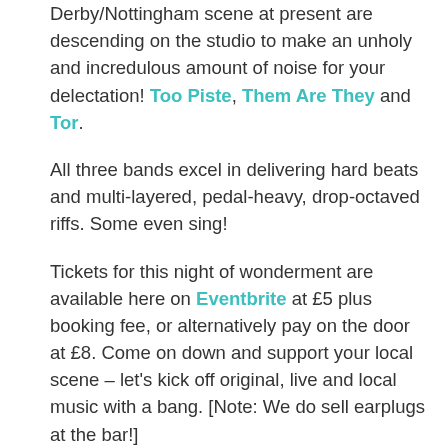Derby/Nottingham scene at present are descending on the studio to make an unholy and incredulous amount of noise for your delectation! Too Piste, Them Are They and Tor.
All three bands excel in delivering hard beats and multi-layered, pedal-heavy, drop-octaved riffs. Some even sing!
Tickets for this night of wonderment are available here on Eventbrite at £5 plus booking fee, or alternatively pay on the door at £8. Come on down and support your local scene – let's kick off original, live and local music with a bang. [Note: We do sell earplugs at the bar!]
Too Piste on Facebook
Too Piste on BandCamp
Them Are They on Facebook